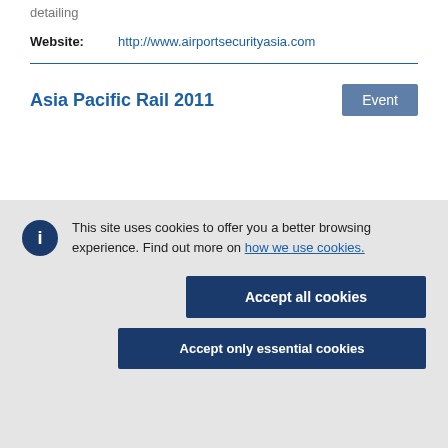detailing
Website: http://www.airportsecurityasia.com
Asia Pacific Rail 2011
Event
This site uses cookies to offer you a better browsing experience. Find out more on how we use cookies.
Accept all cookies
Accept only essential cookies